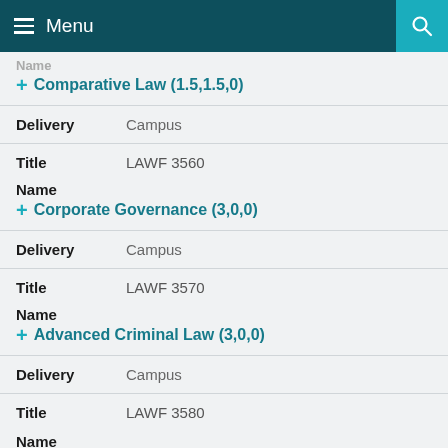Menu
Name
+ Comparative Law (1.5,1.5,0)
Delivery   Campus
Title   LAWF 3560
Name
+ Corporate Governance (3,0,0)
Delivery   Campus
Title   LAWF 3570
Name
+ Advanced Criminal Law (3,0,0)
Delivery   Campus
Title   LAWF 3580
Name